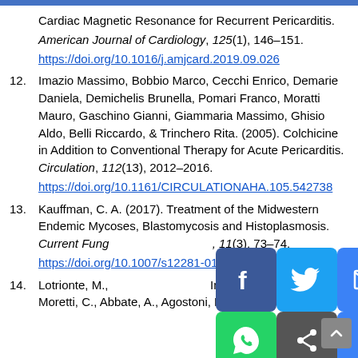Cardiac Magnetic Resonance for Recurrent Pericarditis. American Journal of Cardiology, 125(1), 146–151. https://doi.org/10.1016/j.amjcard.2019.09.026
12. Imazio Massimo, Bobbio Marco, Cecchi Enrico, Demarie Daniela, Demichelis Brunella, Pomari Franco, Moratti Mauro, Gaschino Gianni, Giammaria Massimo, Ghisio Aldo, Belli Riccardo, & Trinchero Rita. (2005). Colchicine in Addition to Conventional Therapy for Acute Pericarditis. Circulation, 112(13), 2012–2016. https://doi.org/10.1161/CIRCULATIONAHA.105.542738
13. Kauffman, C. A. (2017). Treatment of the Midwestern Endemic Mycoses, Blastomycosis and Histoplasmosis. Current Fungal Infection Reports, 11(3), 73–74. https://doi.org/10.1007/s12281-017-0281-x
14. Lotrionte, M., Biondi-Zoccai, G., Imazio, M., Castagno, D., Moretti, C., Abbate, A., Agostoni, P., Brucato, A. L., Di